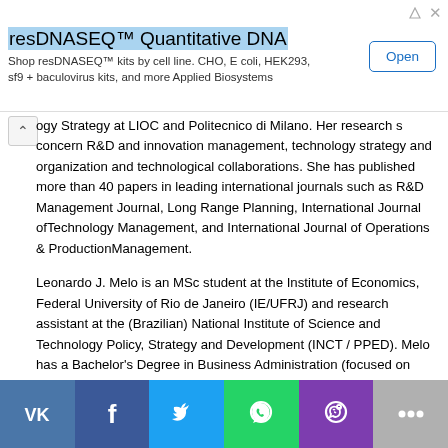[Figure (other): Advertisement banner for resDNASEQ Quantitative DNA kits with Open button]
ogy Strategy at LIOC and Politecnico di Milano. Her research s concern R&D and innovation management, technology strategy and organization and technological collaborations. She has published more than 40 papers in leading international journals such as R&D Management Journal, Long Range Planning, International Journal ofTechnology Management, and International Journal of Operations & ProductionManagement.
Leonardo J. Melo is an MSc student at the Institute of Economics, Federal University of Rio de Janeiro (IE/UFRJ) and research assistant at the (Brazilian) National Institute of Science and Technology Policy, Strategy and Development (INCT / PPED). Melo has a Bachelor's Degree in Business Administration (focused on Entrepreneurship and Management and Evaluation of Public Policy) from the Catholic University of Rio de Janeiro (PUC-Rio). He works in the field of project management related to innovation and interaction between universities, government and society. Melo researches in the following areas: public policy, sustainability and the knowledge economy.
Jonathon Mote is an Assistant Professor of Management at Southern
[Figure (other): Social sharing bar with VK, Facebook, Twitter, WhatsApp, Viber, and more buttons]